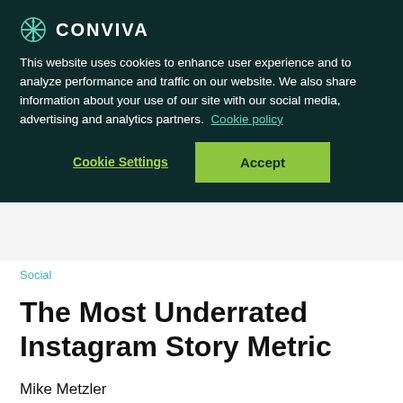[Figure (logo): Conviva logo with snowflake/compass icon and CONVIVA text in white on dark teal background]
This website uses cookies to enhance user experience and to analyze performance and traffic on our website. We also share information about your use of our site with our social media, advertising and analytics partners. Cookie policy
Cookie Settings
Accept
Social
The Most Underrated Instagram Story Metric
Mike Metzler
July 25, 2018